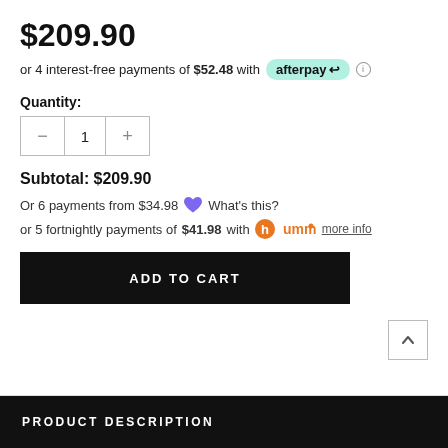$209.90
or 4 interest-free payments of $52.48 with afterpay ℹ
Quantity:
Subtotal: $209.90
Or 6 payments from $34.98 💜 What's this?
or 5 fortnightly payments of $41.98 with humm more info
ADD TO CART
PRODUCT DESCRIPTION